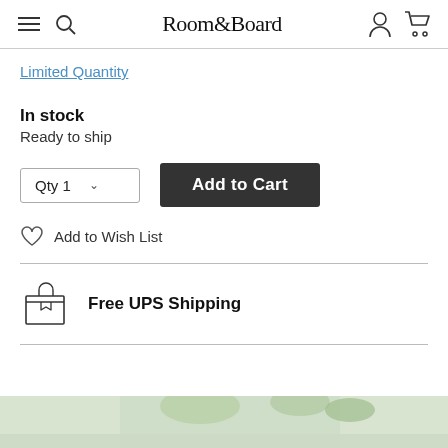Room&Board
Limited Quantity
In stock
Ready to ship
[Figure (screenshot): Qty 1 dropdown selector and Add to Cart button]
Add to Wish List
[Figure (illustration): Box/package icon with text: Free UPS Shipping]
[Figure (photo): Bottom partial image strip showing greenery/plant decor]